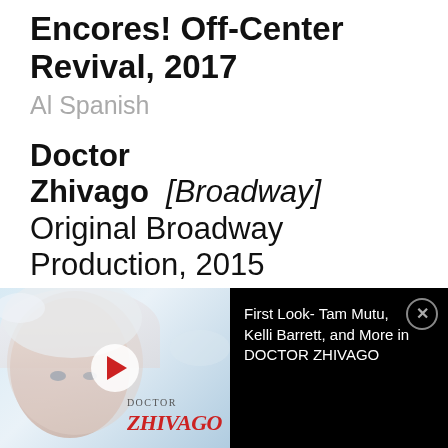Encores! Off-Center Revival, 2017
Al Spanish
Doctor Zhivago  [Broadway]
Original Broadway Production, 2015
Doctor Yurii Zhivago
Love Never Dies  [West End]
Original London Production, 2010
Ensemble
[Figure (screenshot): Video advertisement thumbnail showing Doctor Zhivago promotional image with a woman in a white fur hat against a snowy background, with a play button overlay and the ZHIVAGO logo.]
First Look- Tam Mutu, Kelli Barrett, and More in DOCTOR ZHIVAGO